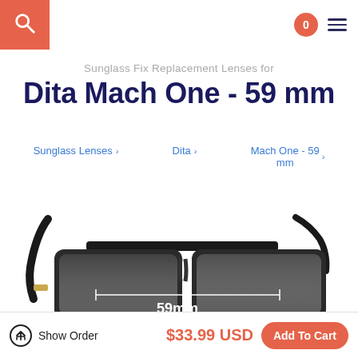Sunglass Fix Replacement Lenses for
Dita Mach One - 59 mm
Sunglass Lenses › | Dita › | Mach One - 59 mm ›
[Figure (photo): Photo of Dita Mach One sunglasses with a white measurement line labeled 59mm across the lens]
Show Order | $33.99 USD | Add To Cart